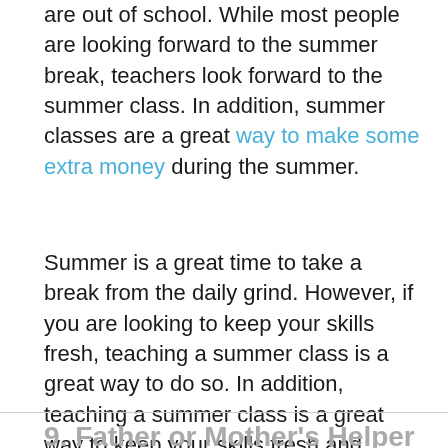are out of school. While most people are looking forward to the summer break, teachers look forward to the summer class. In addition, summer classes are a great way to make some extra money during the summer.
Summer is a great time to take a break from the daily grind. However, if you are looking to keep your skills fresh, teaching a summer class is a great way to do so. In addition, teaching a summer class is a great way to keep your skills fresh and make some extra money to help pay for your expenses.
9. Father or Mother's Helper